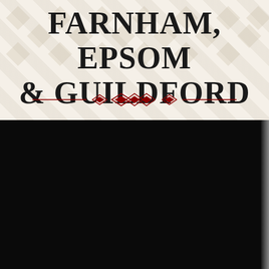FARNHAM, EPSOM & GUILDFORD
[Figure (illustration): Decorative red ornamental divider with diamond shapes in the center, flanked by horizontal lines]
Professional magician available for weddings, parties and events in Woking, Epsom, Guildford, Camberley, Farnham,